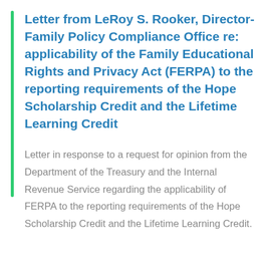Letter from LeRoy S. Rooker, Director-Family Policy Compliance Office re: applicability of the Family Educational Rights and Privacy Act (FERPA) to the reporting requirements of the Hope Scholarship Credit and the Lifetime Learning Credit
Letter in response to a request for opinion from the Department of the Treasury and the Internal Revenue Service regarding the applicability of FERPA to the reporting requirements of the Hope Scholarship Credit and the Lifetime Learning Credit.